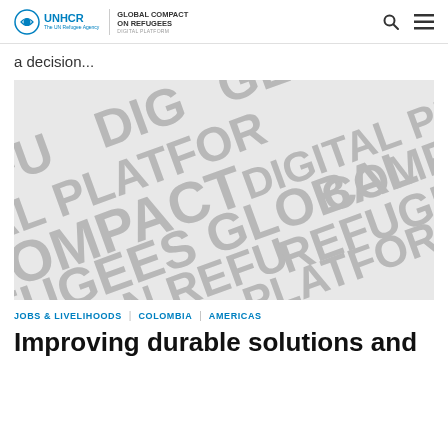UNHCR | GLOBAL COMPACT ON REFUGEES DIGITAL PLATFORM
a decision...
[Figure (photo): Background image with repeating large grey text words: REFUGEES, GLOBAL, COMPACT, PLATFORM, DIGITAL, ON, arranged diagonally on a light grey background]
JOBS & LIVELIHOODS | COLOMBIA | AMERICAS
Improving durable solutions and